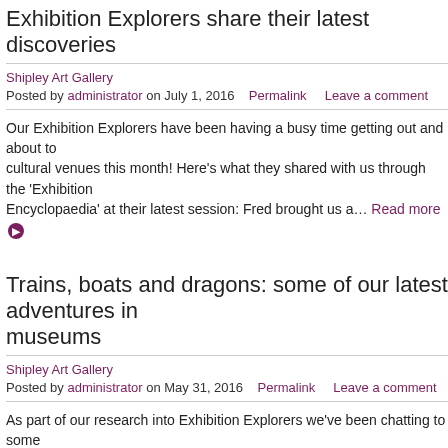Exhibition Explorers share their latest discoveries
Shipley Art Gallery
Posted by administrator on July 1, 2016   Permalink   Leave a comment
Our Exhibition Explorers have been having a busy time getting out and about to cultural venues this month! Here's what they shared with us through the 'Exhibition Encyclopaedia' at their latest session: Fred brought us a… Read more
Trains, boats and dragons: some of our latest adventures in museums
Shipley Art Gallery
Posted by administrator on May 31, 2016   Permalink   Leave a comment
As part of our research into Exhibition Explorers we've been chatting to some experiences of the 'Family Adventure' aspect of the project. This is where families are encouraged to visit a cultural venue between sessions, and bring… Read more